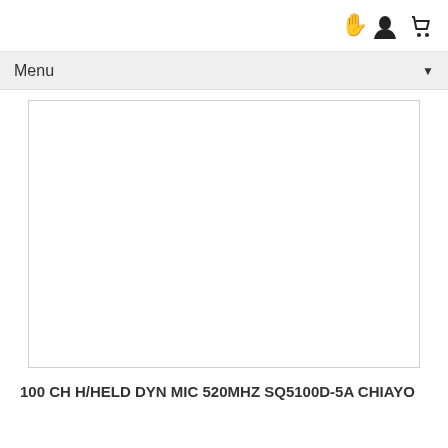Menu
[Figure (photo): Product image placeholder — empty white box with light gray border]
100 CH H/HELD DYN MIC 520MHZ SQ5100D-5A CHIAYO